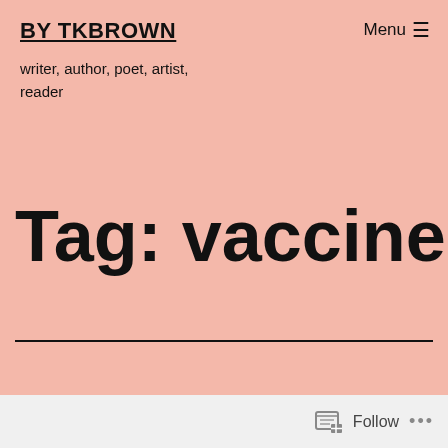BY TKBROWN
Menu ☰
writer, author, poet, artist, reader
Tag: vaccines
Follow •••